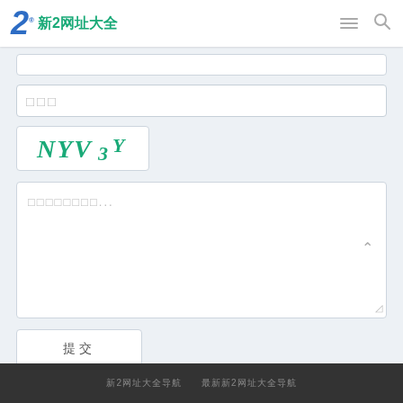新2网址大全
□□□
[Figure (other): CAPTCHA image showing text: NYV3Y in teal handwritten style]
□□□□□□□□...
提交
新2网址大全导航　　最新新2网址大全导航